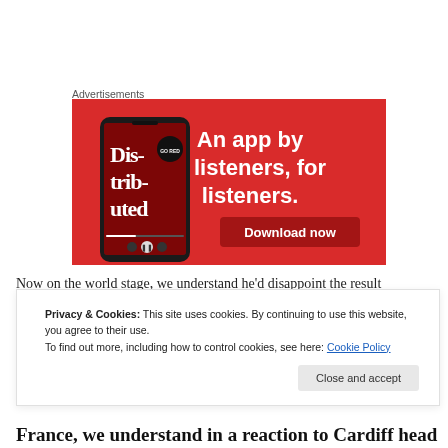Advertisements
[Figure (illustration): Red advertisement banner for a podcast app. Shows a smartphone displaying a podcast episode called 'Distributed'. Large white bold text reads 'An app by listeners, for listeners.' with a dark red 'Download now' button.]
Privacy & Cookies: This site uses cookies. By continuing to use this website, you agree to their use.
To find out more, including how to control cookies, see here: Cookie Policy
France, we understand in a reaction to Cardiff head